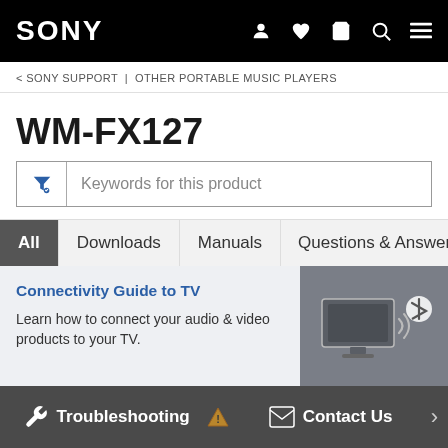SONY
< SONY SUPPORT | OTHER PORTABLE MUSIC PLAYERS
WM-FX127
Keywords for this product
All | Downloads | Manuals | Questions & Answers
Connectivity Guide to TV
Learn how to connect your audio & video products to your TV.
Troubleshooting   Contact Us